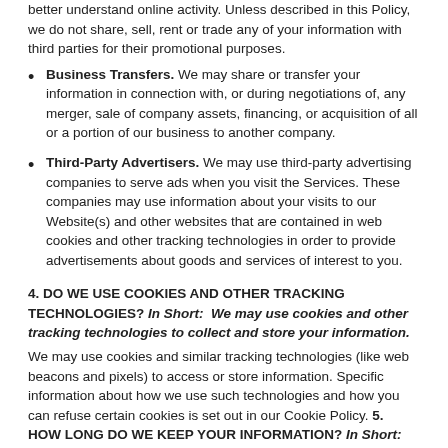better understand online activity. Unless described in this Policy, we do not share, sell, rent or trade any of your information with third parties for their promotional purposes.
Business Transfers. We may share or transfer your information in connection with, or during negotiations of, any merger, sale of company assets, financing, or acquisition of all or a portion of our business to another company.
Third-Party Advertisers. We may use third-party advertising companies to serve ads when you visit the Services. These companies may use information about your visits to our Website(s) and other websites that are contained in web cookies and other tracking technologies in order to provide advertisements about goods and services of interest to you.
4. DO WE USE COOKIES AND OTHER TRACKING TECHNOLOGIES? In Short: We may use cookies and other tracking technologies to collect and store your information.
We may use cookies and similar tracking technologies (like web beacons and pixels) to access or store information. Specific information about how we use such technologies and how you can refuse certain cookies is set out in our Cookie Policy. 5. HOW LONG DO WE KEEP YOUR INFORMATION? In Short: We keep your information for as long as necessary to fulfill the purposes outlined in this privacy policy unless otherwise required by law. We will only keep